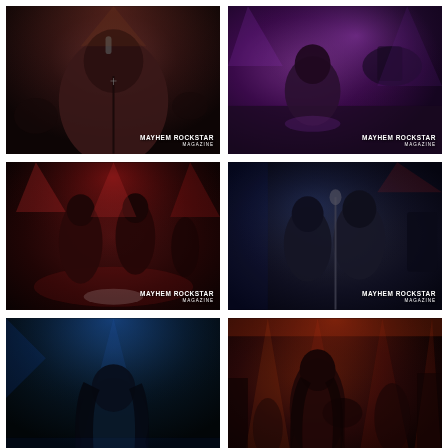[Figure (photo): Close-up of a male singer in a dark maroon/black bomber jacket holding a microphone, with stage/drum kit visible in background. Watermark: MAYHEM ROCKSTAR MAGAZINE]
[Figure (photo): Stage performer crouching or jumping under purple/blue stage lights, with drum equipment visible. Watermark: MAYHEM ROCKSTAR MAGAZINE]
[Figure (photo): Two male performers dancing/performing on stage under red stage lights with dramatic dark background. Watermark: MAYHEM ROCKSTAR MAGAZINE]
[Figure (photo): Two male singers performing together at a microphone stand under blue stage lighting. Watermark: MAYHEM ROCKSTAR MAGAZINE]
[Figure (photo): Male singer looking upward under blue spotlight on dark stage. Partial image (bottom of page).]
[Figure (photo): Guitarist performing on stage under warm red/orange stage lighting with dramatic light beams visible. Partial image (bottom of page).]